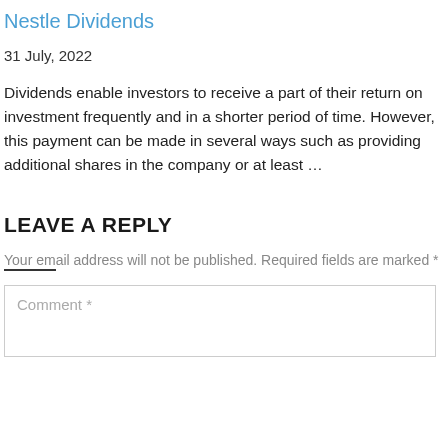Nestle Dividends
31 July, 2022
Dividends enable investors to receive a part of their return on investment frequently and in a shorter period of time. However, this payment can be made in several ways such as providing additional shares in the company or at least …
LEAVE A REPLY
Your email address will not be published. Required fields are marked *
Comment *